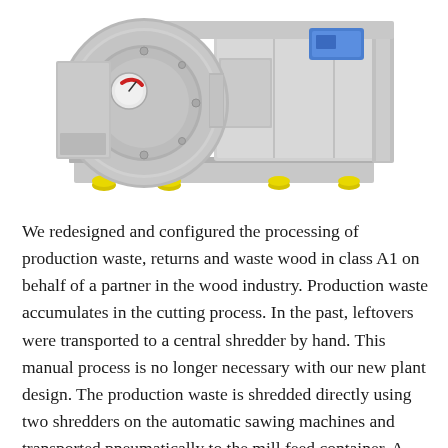[Figure (photo): Industrial shredder machine rendered in 3D — large grey metal unit with circular rotor housing on the left side showing a red dial/gauge, blue component on the upper right, mounted on a base frame with yellow leveling feet.]
We redesigned and configured the processing of production waste, returns and waste wood in class A1 on behalf of a partner in the wood industry. Production waste accumulates in the cutting process. In the past, leftovers were transported to a central shredder by hand. This manual process is no longer necessary with our new plant design. The production waste is shredded directly using two shredders on the automatic sawing machines and transported pneumatically to the mill feed container. A third processing line shreds the returns and waste wood. This material is also transported pneumatically to the